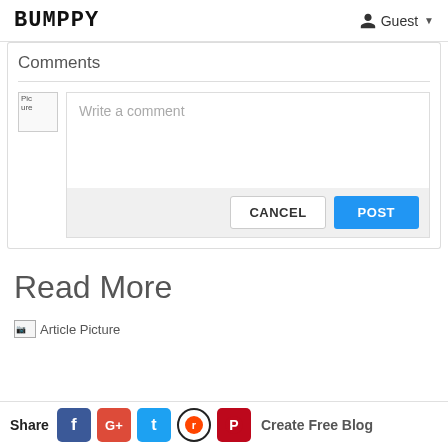BUMPPY   Guest
Comments
[Figure (screenshot): Comment input area with avatar placeholder, text field saying 'Write a comment', and CANCEL/POST buttons]
Read More
[Figure (screenshot): Article picture stub partially visible]
Share  f  G+  t  reddit  pinterest  Create Free Blog